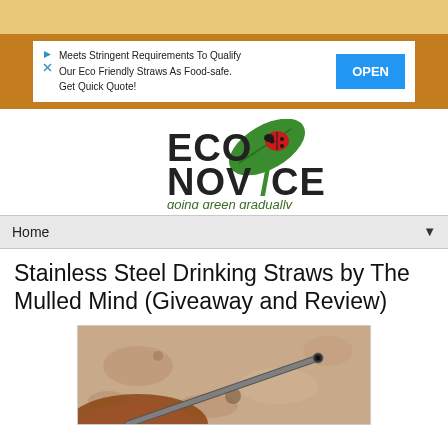[Figure (other): Top sandy/tan colored banner strip]
[Figure (other): Advertisement banner: Meets Stringent Requirements To Qualify Our Eco Friendly Straws As Food-safe. Get Quick Quote! with OPEN button]
[Figure (logo): EcoNovice logo - green leaf with ladybug, text ECO NOVICE going green gradually]
Home
Stainless Steel Drinking Straws by The Mulled Mind (Giveaway and Review)
[Figure (photo): Photo of stainless steel drinking straw on stone/marble surface with wooden bowl edge visible]